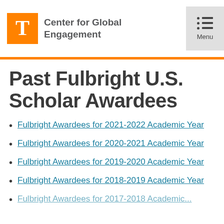Center for Global Engagement
Past Fulbright U.S. Scholar Awardees
Fulbright Awardees for 2021-2022 Academic Year
Fulbright Awardees for 2020-2021 Academic Year
Fulbright Awardees for 2019-2020 Academic Year
Fulbright Awardees for 2018-2019 Academic Year
Fulbright Awardees for 2017-2018 Academic Year